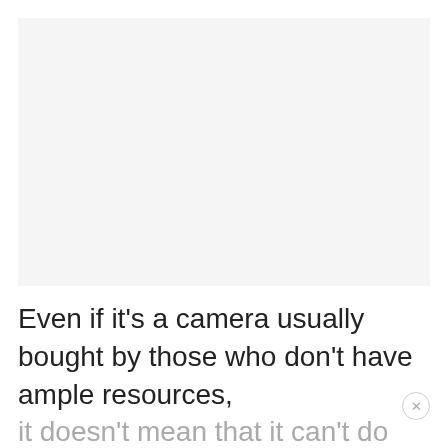[Figure (other): Light gray rectangular image placeholder area]
Even if it's a camera usually bought by those who don't have ample resources, it doesn't mean that it can't do well in certain conditions.